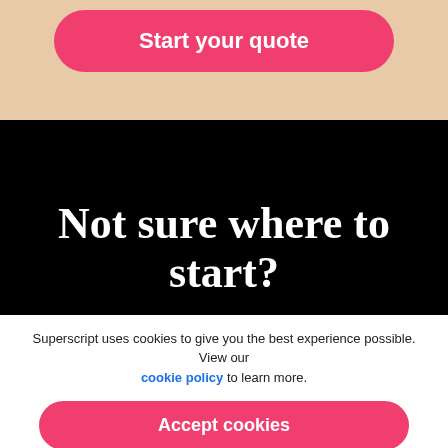Start your quote
Not sure where to start?
Superscript uses cookies to give you the best experience possible. View our cookie policy to learn more.
Accept cookies